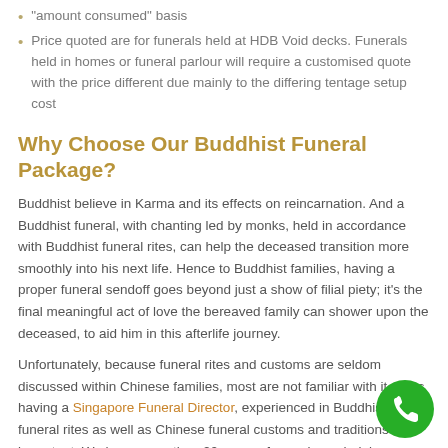"amount consumed" basis
Price quoted are for funerals held at HDB Void decks. Funerals held in homes or funeral parlour will require a customised quote with the price different due mainly to the differing tentage setup cost
Why Choose Our Buddhist Funeral Package?
Buddhist believe in Karma and its effects on reincarnation. And a Buddhist funeral, with chanting led by monks, held in accordance with Buddhist funeral rites, can help the deceased transition more smoothly into his next life. Hence to Buddhist families, having a proper funeral sendoff goes beyond just a show of filial piety; it's the final meaningful act of love the bereaved family can shower upon the deceased, to aid him in this afterlife journey.
Unfortunately, because funeral rites and customs are seldom discussed within Chinese families, most are not familiar with it. Thus having a Singapore Funeral Director, experienced in Buddhist funeral rites as well as Chinese funeral customs and traditions is important. We have more than 20 years of experience helping Buddhist families in Singapore with such funeral arrangements. Indeed when it comes to funeral planning